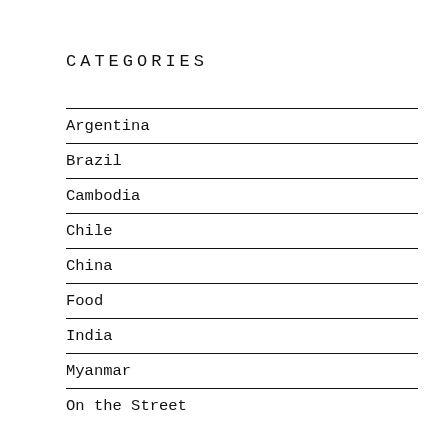CATEGORIES
Argentina
Brazil
Cambodia
Chile
China
Food
India
Myanmar
On the Street